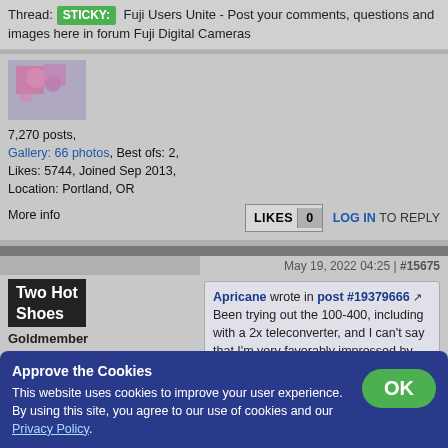Thread: STICKY: Fuji Users Unite - Post your comments, questions and images here in forum Fuji Digital Cameras
7,270 posts, Gallery: 66 photos, Best ofs: 2, Likes: 5744, Joined Sep 2013, Location: Portland, OR
More info
LIKES 0  LOG IN TO REPLY
Two Hot Shoes
Goldmember
May 19, 2022 04:25 | #15675
Apricane wrote in post #19379666
Been trying out the 100-400, including with a 2x teleconverter, and I can't say that I'm very favorably impressed by the results I'm getting. Or, to put more accurately, not impressed with
Approve the Cookies
This website uses cookies to improve your user experience. By using this site, you agree to our use of cookies and our Privacy Policy.